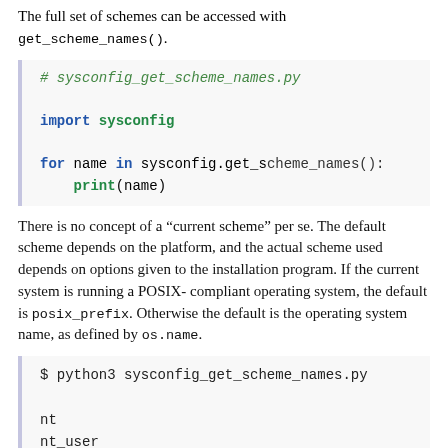The full set of schemes can be accessed with get_scheme_names().
[Figure (screenshot): Python code block showing: # sysconfig_get_scheme_names.py, import sysconfig, for name in sysconfig.get_scheme_names(): print(name)]
There is no concept of a “current scheme” per se. The default scheme depends on the platform, and the actual scheme used depends on options given to the installation program. If the current system is running a POSIX-compliant operating system, the default is posix_prefix. Otherwise the default is the operating system name, as defined by os.name.
[Figure (screenshot): Shell output block: $ python3 sysconfig_get_scheme_names.py with output lines: nt, nt_user, osx_framework_user, posix_home, posix_prefix, posix_user (partially visible)]